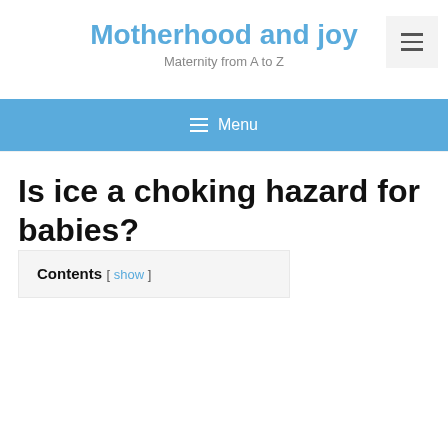Motherhood and joy
Maternity from A to Z
≡ Menu
Is ice a choking hazard for babies?
Contents [ show ]